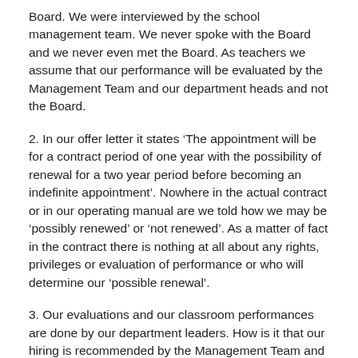Board. We were interviewed by the school management team. We never spoke with the Board and we never even met the Board. As teachers we assume that our performance will be evaluated by the Management Team and our department heads and not the Board.
2. In our offer letter it states ‘The appointment will be for a contract period of one year with the possibility of renewal for a two year period before becoming an indefinite appointment’. Nowhere in the actual contract or in our operating manual are we told how we may be ‘possibly renewed’ or ‘not renewed’. As a matter of fact in the contract there is nothing at all about any rights, privileges or evaluation of performance or who will determine our ‘possible renewal’.
3. Our evaluations and our classroom performances are done by our department leaders. How is it that our hiring is recommended by the Management Team and our Department Head but our renewals are done ‘Suddenly’ by the Board? Has the Board ever sat in our classroom? Has the Board the educational background to now suddenly decide our fate as professionals?